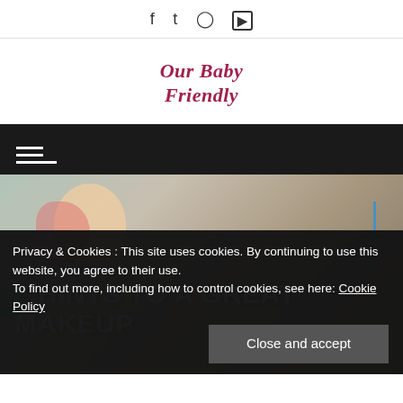Social icons: Facebook, Twitter, Instagram, YouTube
Our Baby Friendly
[Figure (screenshot): Navigation bar with hamburger menu icon on dark background]
[Figure (photo): Photo of a mother and baby, partially obscured by cookie banner. Headline text overlay reads: 7 HINTS TO A GREAT MAKEUP]
Privacy & Cookies: This site uses cookies. By continuing to use this website, you agree to their use. To find out more, including how to control cookies, see here: Cookie Policy
Close and accept